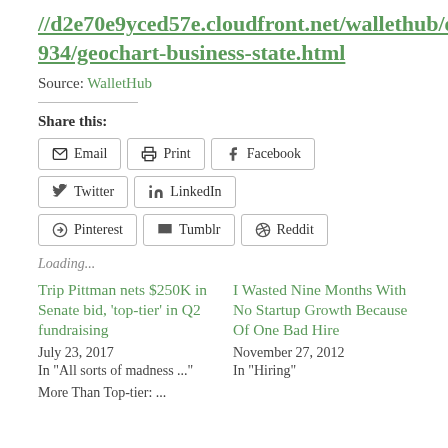//d2e70e9yced57e.cloudfront.net/wallethub/embed/36934/geochart-business-state.html
Source: WalletHub
Share this:
Loading...
Trip Pittman nets $250K in Senate bid, 'top-tier' in Q2 fundraising
July 23, 2017
In "All sorts of madness ..."
I Wasted Nine Months With No Startup Growth Because Of One Bad Hire
November 27, 2012
In "Hiring"
More Than Top-tier: ...